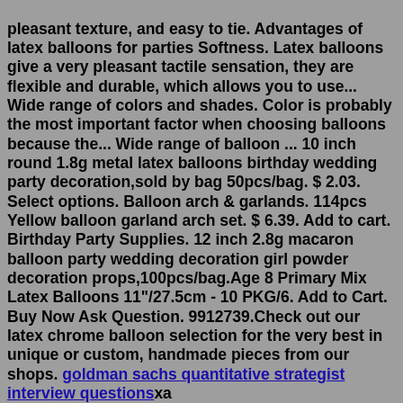pleasant texture, and easy to tie. Advantages of latex balloons for parties Softness. Latex balloons give a very pleasant tactile sensation, they are flexible and durable, which allows you to use... Wide range of colors and shades. Color is probably the most important factor when choosing balloons because the... Wide range of balloon ... 10 inch round 1.8g metal latex balloons birthday wedding party decoration,sold by bag 50pcs/bag. $ 2.03. Select options. Balloon arch & garlands. 114pcs Yellow balloon garland arch set. $ 6.39. Add to cart. Birthday Party Supplies. 12 inch 2.8g macaron balloon party wedding decoration girl powder decoration props,100pcs/bag.Age 8 Primary Mix Latex Balloons 11"/27.5cm - 10 PKG/6. Add to Cart. Buy Now Ask Question. 9912739.Check out our latex chrome balloon selection for the very best in unique or custom, handmade pieces from our shops. goldman sachs quantitative strategist interview questionsxa